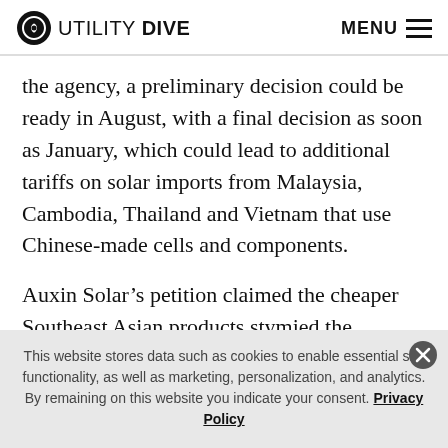UTILITY DIVE  MENU
the agency, a preliminary decision could be ready in August, with a final decision as soon as January, which could lead to additional tariffs on solar imports from Malaysia, Cambodia, Thailand and Vietnam that use Chinese-made cells and components.
Auxin Solar’s petition claimed the cheaper Southeast Asian products stymied the development of solar manufacturing in the United States.
This website stores data such as cookies to enable essential site functionality, as well as marketing, personalization, and analytics. By remaining on this website you indicate your consent. Privacy Policy